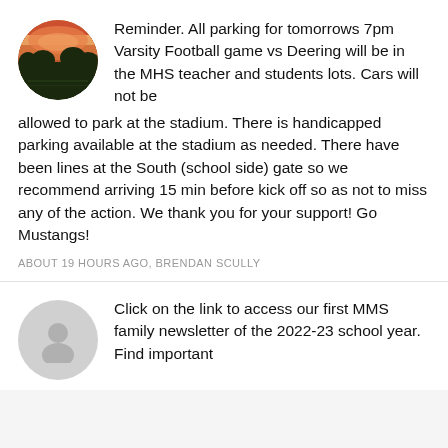[Figure (photo): Circular avatar photo showing a football stadium at sunset with orange/pink sky and silhouetted trees]
Reminder. All parking for tomorrows 7pm Varsity Football game vs Deering will be in the MHS teacher and students lots. Cars will not be allowed to park at the stadium. There is handicapped parking available at the stadium as needed. There have been lines at the South (school side) gate so we recommend arriving 15 min before kick off so as not to miss any of the action. We thank you for your support! Go Mustangs!
ABOUT 19 HOURS AGO, BRENDAN SCULLY
[Figure (illustration): Gray circular avatar with a generic person/user silhouette icon]
Click on the link to access our first MMS family newsletter of the 2022-23 school year. Find important